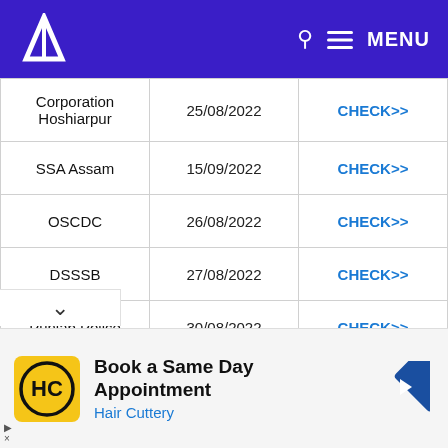A MENU
| Organization | Date | Link |
| --- | --- | --- |
| Corporation Hoshiarpur | 25/08/2022 | CHECK>> |
| SSA Assam | 15/09/2022 | CHECK>> |
| OSCDC | 26/08/2022 | CHECK>> |
| DSSSB | 27/08/2022 | CHECK>> |
| Punjab Police | 30/08/2022 | CHECK>> |
| MPPSC | 16/09/2022 | CHECK>> |
| MRB | 30/08/2022 | CHECK>> |
[Figure (infographic): Advertisement banner: Book a Same Day Appointment - Hair Cuttery]